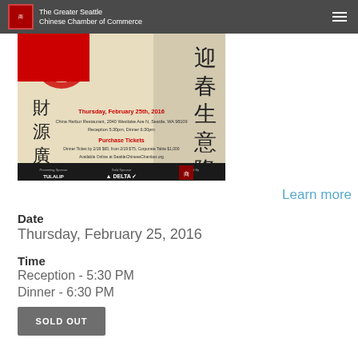The Greater Seattle Chinese Chamber of Commerce
[Figure (illustration): Event flyer for Chinese New Year Gala 2016 at China Harbor Restaurant. Shows Chinese calligraphy, red decorative elements. Details: Thursday, February 25th, 2016, China Harbor Restaurant, 2040 Westlake Ave N, Seattle, WA 98109, Reception 5:30pm, Dinner 6:30pm. Sponsors: Tulalip Resort Casino, Delta, organized by Chinese Chamber.]
Learn more
Date
Thursday, February 25, 2016
Time
Reception - 5:30 PM
Dinner - 6:30 PM
SOLD OUT